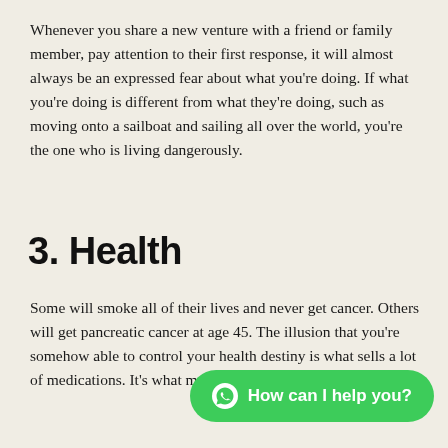Whenever you share a new venture with a friend or family member, pay attention to their first response, it will almost always be an expressed fear about what you're doing. If what you're doing is different from what they're doing, such as moving onto a sailboat and sailing all over the world, you're the one who is living dangerously.
3. Health
Some will smoke all of their lives and never get cancer. Others will get pancreatic cancer at age 45. The illusion that you're somehow able to control your health destiny is what sells a lot of medications. It's what makes healthcare so expensive
[Figure (other): Green chat bubble UI element with WhatsApp icon and text 'How can I help you?']